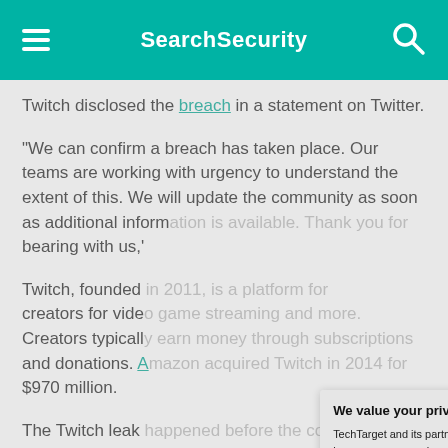SearchSecurity
Twitch disclosed the breach in a statement on Twitter.
"We can confirm a breach has taken place. Our teams are working with urgency to understand the extent of this. We will update the community as soon as additional information is available. Thank you for bearing with us,'
Twitch, founded creators for vide Creators typicall and donations. A $970 million.
The Twitch leak disclosure was p morning, and all
[Figure (screenshot): Privacy consent modal dialog with title 'We value your privacy.' and text about TechTarget and its partners using cookies. Contains links to 'manage your settings' and 'Privacy Policy', with OK and Settings buttons.]